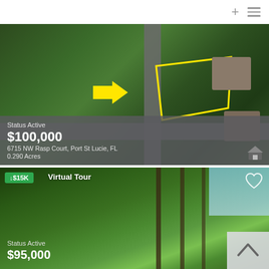[Figure (screenshot): Real estate listing app screenshot showing two property listings. Top listing: aerial map view of vacant land at 6715 NW Rasp Court, Port St Lucie, FL with yellow arrow and outline marking the parcel. Status Active, $100,000, 0.290 Acres. Bottom listing: photo of wooded/forested vacant land, Status Active, $95,000, with price drop badge showing -$15K and Virtual Tour label.]
Status Active
$100,000
6715 NW Rasp Court, Port St Lucie, FL
0.290 Acres
↓$15K
Virtual Tour
Status Active
$95,000